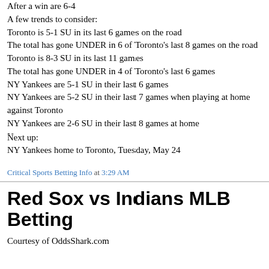After a win are 6-4
A few trends to consider:
Toronto is 5-1 SU in its last 6 games on the road
The total has gone UNDER in 6 of Toronto's last 8 games on the road
Toronto is 8-3 SU in its last 11 games
The total has gone UNDER in 4 of Toronto's last 6 games
NY Yankees are 5-1 SU in their last 6 games
NY Yankees are 5-2 SU in their last 7 games when playing at home against Toronto
NY Yankees are 2-6 SU in their last 8 games at home
Next up:
NY Yankees home to Toronto, Tuesday, May 24
Critical Sports Betting Info at 3:29 AM
Red Sox vs Indians MLB Betting
Courtesy of OddsShark.com